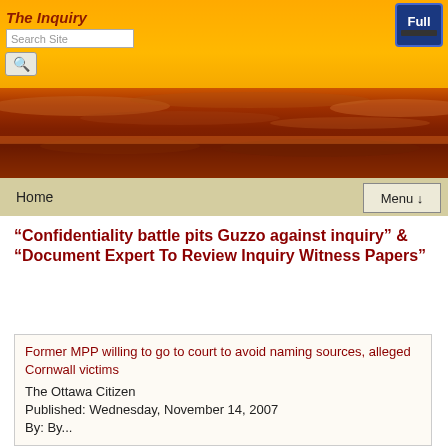The Inquiry
[Figure (screenshot): Full badge - blue laptop icon with 'Full' text]
[Figure (photo): Sunset landscape photograph showing orange and red sky with clouds]
Home
Menu ↓
“Confidentiality battle pits Guzzo against inquiry” & “Document Expert To Review Inquiry Witness Papers”
Former MPP willing to go to court to avoid naming sources, alleged Cornwall victims
The Ottawa Citizen
Published: Wednesday, November 14, 2007
By: By...